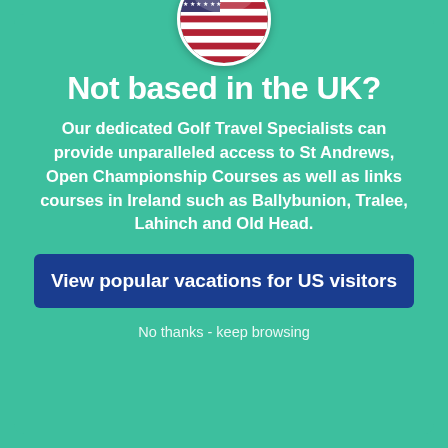[Figure (illustration): US flag circular badge at top center of modal popup]
Not based in the UK?
Our dedicated Golf Travel Specialists can provide unparalleled access to St Andrews, Open Championship Courses as well as links courses in Ireland such as Ballybunion, Tralee, Lahinch and Old Head.
View popular vacations for US visitors
No thanks - keep browsing